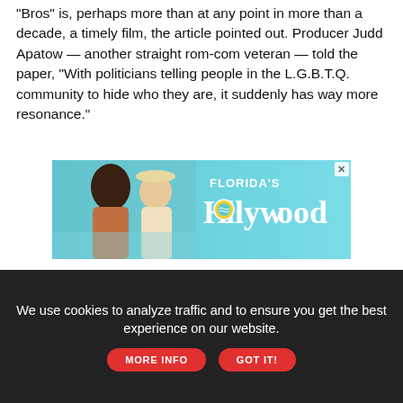"Bros" is, perhaps more than at any point in more than a decade, a timely film, the article pointed out. Producer Judd Apatow — another straight rom-com veteran — told the paper, "With politicians telling people in the L.G.B.T.Q. community to hide who they are, it suddenly has way more resonance."
[Figure (photo): Advertisement banner for Florida's Hollywood featuring two women smiling at the beach with the text 'Florida's Hollywood' in stylized lettering]
Kilian Melloy serves as EDGE Media Network's Associate Arts Editor and Staff Contributor. His professional memberships include the National Lesbian & Gay Journalists Association, the Boston Online Film Critics Association, The Gay and Lesbian Entertainment Critics Association, and the Boston Theater Critics Association's Elliot Norton Awards Committee.
[Figure (infographic): Social media share icons: Facebook, Twitter, Pinterest, LinkedIn, Email]
INSIDE EDGE
We use cookies to analyze traffic and to ensure you get the best experience on our website.